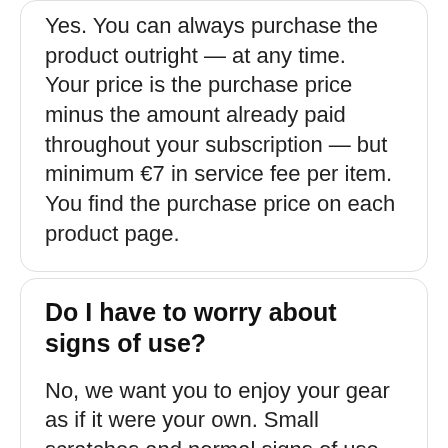Yes. You can always purchase the product outright — at any time.
Your price is the purchase price minus the amount already paid throughout your subscription — but minimum €7 in service fee per item. You find the purchase price on each product page.
Do I have to worry about signs of use?
No, we want you to enjoy your gear as if it were your own. Small scratches and normal signs of use will be cleaned once returned to us, free of